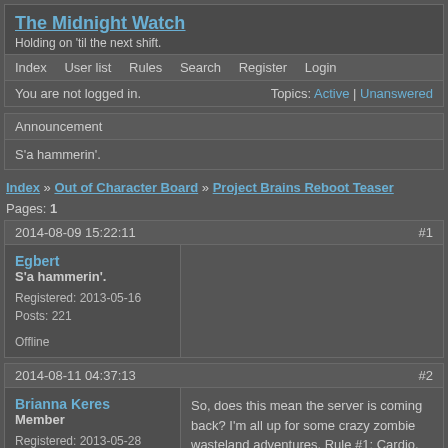The Midnight Watch
Holding on 'til the next shift.
Index   User list   Rules   Search   Register   Login
You are not logged in.    Topics: Active | Unanswered
Announcement
S'a hammerin'.
Index » Out of Character Board » Project Brains Reboot Teaser
Pages: 1
2014-08-09 15:22:11    #1
Egbert
S'a hammerin'.
Registered: 2013-05-16
Posts: 221
Offline
2014-08-11 04:37:13    #2
Brianna Keres
Member
Registered: 2013-05-28
Posts: 31
Offline
So, does this mean the server is coming back? I'm all up for some crazy zombie wasteland adventures. Rule #1: Cardio.